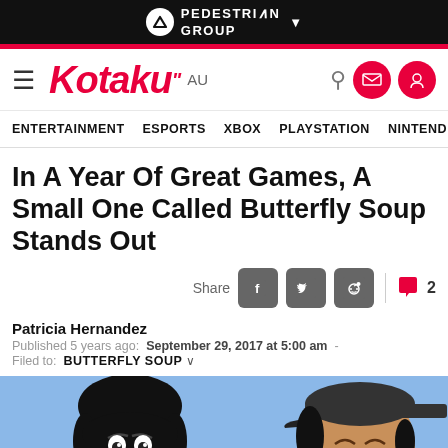[Figure (screenshot): Pedestrian Group logo in white on black bar at top of page]
Kotaku AU
ENTERTAINMENT   ESPORTS   XBOX   PLAYSTATION   NINTENDO
In A Year Of Great Games, A Small One Called Butterfly Soup Stands Out
Share
Patricia Hernandez
Published 5 years ago: September 29, 2017 at 5:00 am
Filed to: BUTTERFLY SOUP
[Figure (illustration): Anime-style illustration of two characters: one with black hair looking shocked/angry with mouth open, and another darker-skinned character with a cap smiling/laughing, on a blue background]